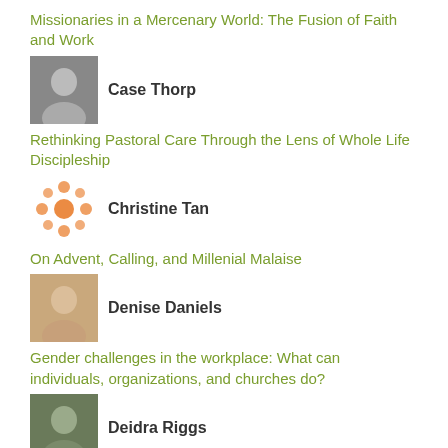Missionaries in a Mercenary World: The Fusion of Faith and Work
Case Thorp
Rethinking Pastoral Care Through the Lens of Whole Life Discipleship
Christine Tan
On Advent, Calling, and Millenial Malaise
Denise Daniels
Gender challenges in the workplace: What can individuals, organizations, and churches do?
Deidra Riggs
Inner Work-ing
E. Davila
“The Same Fragile Human Family:” A Latino Perspective on Faith and Work, Part 2
Dr. Debra J. Dean
Christian Virtues in the Workplace, Conclusion
Christine Jeske